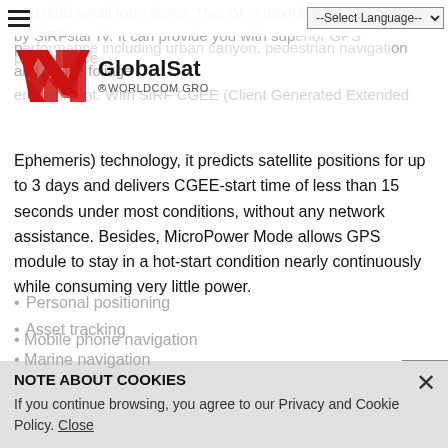-- Select Language --
[Figure (logo): GlobalSat Worldcom Group logo with red stylized W and N mark]
and third small form factor. This GPS module is powered by SiRFstar IV. It can provide you with superior GPS performance including urban canyon, pedestrian navigation and dense foliage environment. With SiRF CGEE (Client Generated Extended Ephemeris) technology, it predicts satellite positions for up to 3 days and delivers CGEE-start time of less than 15 seconds under most conditions, without any network assistance. Besides, MicroPower Mode allows GPS module to stay in a hot-start condition nearly continuously while consuming very little power.
EB-5631RE is suitable for the following applications:
Automotive navigation
Personal positioning
Asset tracking
Mobile phone navigation
Marine navigation
NOTE ABOUT COOKIES
If you continue browsing, you agree to our Privacy and Cookie Policy. Close